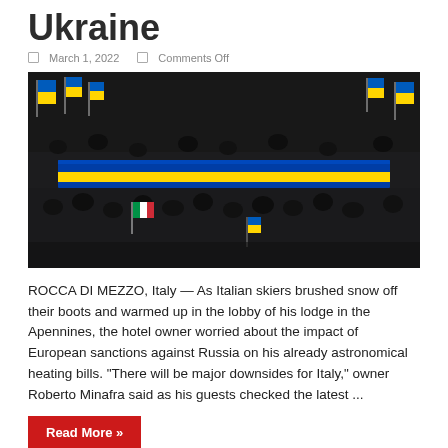Ukraine
March 1, 2022   Comments Off
[Figure (photo): Aerial view of a large crowd of people at a protest or rally, many holding Ukrainian flags (blue and yellow), with a large blue and yellow banner stretched across the crowd. An Italian flag is also visible. The scene appears to be an outdoor demonstration in support of Ukraine.]
ROCCA DI MEZZO, Italy — As Italian skiers brushed snow off their boots and warmed up in the lobby of his lodge in the Apennines, the hotel owner worried about the impact of European sanctions against Russia on his already astronomical heating bills. “There will be major downsides for Italy,” owner Roberto Minafra said as his guests checked the latest ...
Read More »